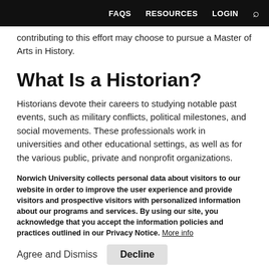FAQS   RESOURCES   LOGIN   🔍
contributing to this effort may choose to pursue a Master of Arts in History.
What Is a Historian?
Historians devote their careers to studying notable past events, such as military conflicts, political milestones, and social movements. These professionals work in universities and other educational settings, as well as for the various public, private and nonprofit organizations.
Norwich University collects personal data about visitors to our website in order to improve the user experience and provide visitors and prospective visitors with personalized information about our programs and services. By using our site, you acknowledge that you accept the information policies and practices outlined in our Privacy Notice. More info
Agree and Dismiss   Decline